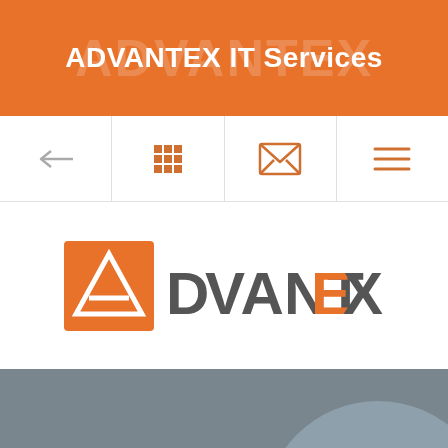ADVANTEX IT Services
[Figure (screenshot): Navigation bar with back arrow, grid/apps icon, email/message icon, and hamburger menu icon]
[Figure (logo): ADVANTEX logo: orange square with white triangle/A symbol on the left, followed by gray text 'DVANTEX' with orange 'E' stylized]
[Figure (illustration): Gray background section with a partial light blue/gray circle decoration in the lower right corner]